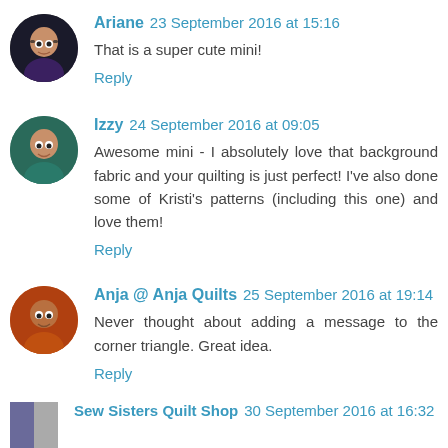Ariane 23 September 2016 at 15:16
That is a super cute mini!
Reply
Izzy 24 September 2016 at 09:05
Awesome mini - I absolutely love that background fabric and your quilting is just perfect! I've also done some of Kristi's patterns (including this one) and love them!
Reply
Anja @ Anja Quilts 25 September 2016 at 19:14
Never thought about adding a message to the corner triangle. Great idea.
Reply
Sew Sisters Quilt Shop 30 September 2016 at 16:32